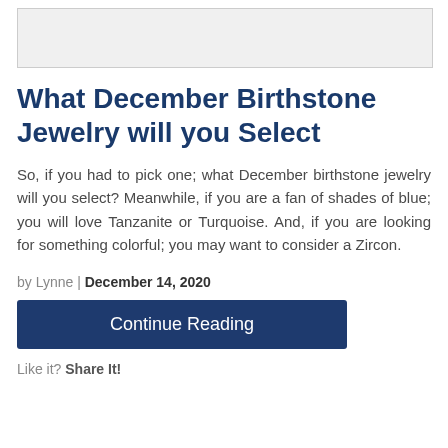[Figure (photo): Partial image of December birthstone jewelry, mostly cropped out at top of page]
What December Birthstone Jewelry will you Select
So, if you had to pick one; what December birthstone jewelry will you select? Meanwhile, if you are a fan of shades of blue; you will love Tanzanite or Turquoise. And, if you are looking for something colorful; you may want to consider a Zircon.
by Lynne | December 14, 2020
Continue Reading
Like it? Share It!